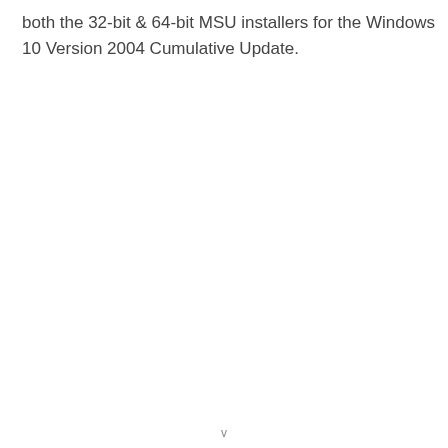both the 32-bit & 64-bit MSU installers for the Windows 10 Version 2004 Cumulative Update.
v